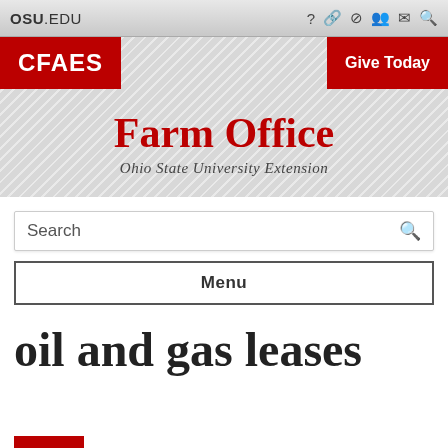OSU.EDU
[Figure (screenshot): CFAES red logo banner and Give Today button on striped header background]
Farm Office
Ohio State University Extension
Search
Menu
oil and gas leases